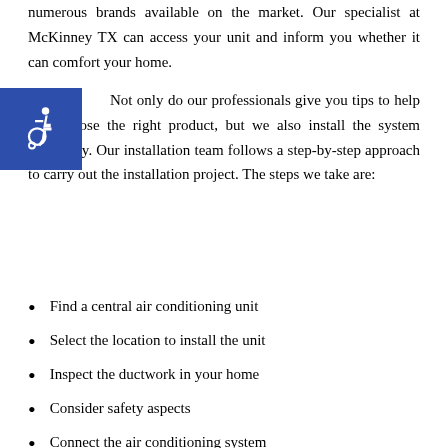numerous brands available on the market. Our specialist at McKinney TX can access your unit and inform you whether it can comfort your home.
[Figure (illustration): Blue square icon with white wheelchair accessibility symbol]
Not only do our professionals give you tips to help you choose the right product, but we also install the system efficiently. Our installation team follows a step-by-step approach to carry out the installation project. The steps we take are:
Find a central air conditioning unit
Select the location to install the unit
Inspect the ductwork in your home
Consider safety aspects
Connect the air conditioning system